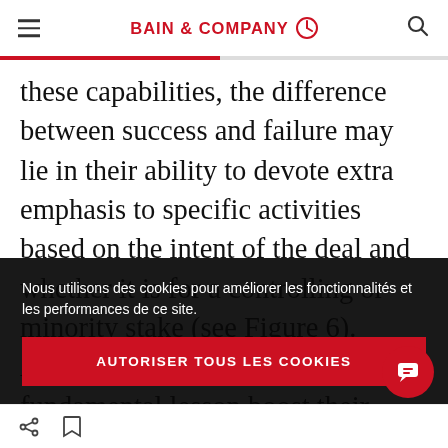BAIN & COMPANY
these capabilities, the difference between success and failure may lie in their ability to devote extra emphasis to specific activities based on the intent of the deal and whether it is for a controlling or minority stake (see Figure 6). Acquirers that learn this fundamental lesson boost their odds of success. For example, to make
Nous utilisons des cookies pour améliorer les fonctionnalités et les performances de ce site.
AUTORISER TOUS LES COOKIES